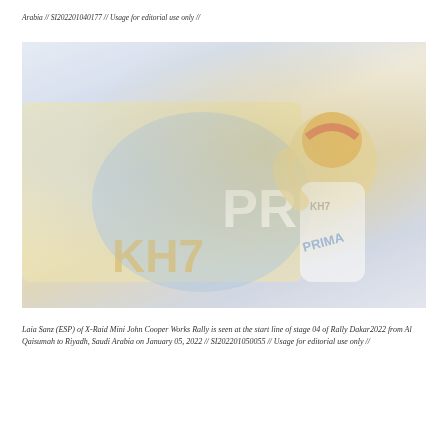Arabia // SI202201040177 // Usage for editorial use only //
[Figure (photo): Laia Sanz in racing gear with KH7 branding on her suit and vehicle, standing at the start line. She wears a yellow and red helmet. The vehicle behind her shows KH7 and PRIMA branding. The image has a faded, washed-out quality.]
Laia Sanz (ESP) of X-Raid Mini John Cooper Works Rally is seen at the start line of stage 04 of Rally Dakar2022 from Al Qaisumah to Riyadh, Saudi Arabia on January 05, 2022 // SI202201050055 // Usage for editorial use only //